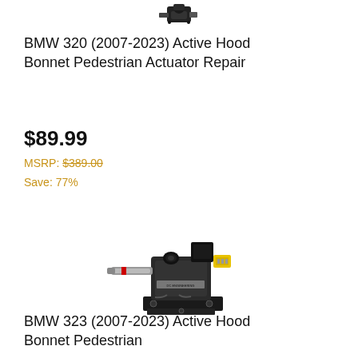[Figure (photo): Partial top view of a BMW active hood bonnet pedestrian actuator mechanism, cropped at top]
BMW 320 (2007-2023) Active Hood Bonnet Pedestrian Actuator Repair
$89.99
MSRP: $389.00
Save: 77%
[Figure (photo): BMW active hood bonnet pedestrian actuator assembly — black metal mechanism with yellow connector plug, silver shaft, and mounting bracket]
BMW 323 (2007-2023) Active Hood Bonnet Pedestrian